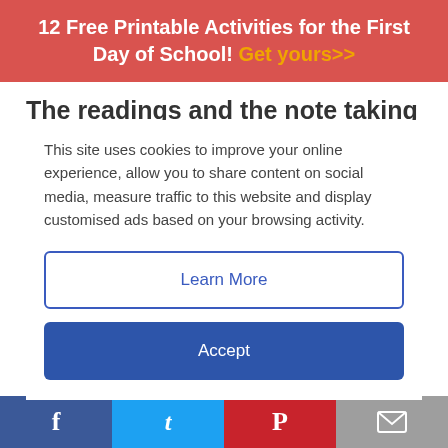12 Free Printable Activities for the First Day of School! Get yours>>
The readings and the note taking are preparing you and your students to talk about the text. You
This site uses cookies to improve your online experience, allow you to share content on social media, measure traffic to this website and display customised ads based on your browsing activity.
Learn More
Accept
always return to the book for evidence to support their response to the questions. This is where it gets interesting! As they discuss the text, students
f  t  p  (email icon)